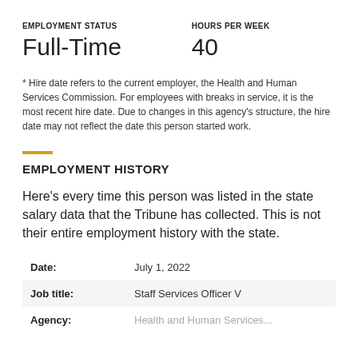EMPLOYMENT STATUS
HOURS PER WEEK
Full-Time
40
* Hire date refers to the current employer, the Health and Human Services Commission. For employees with breaks in service, it is the most recent hire date. Due to changes in this agency’s structure, the hire date may not reflect the date this person started work.
EMPLOYMENT HISTORY
Here’s every time this person was listed in the state salary data that the Tribune has collected. This is not their entire employment history with the state.
| Field | Value |
| --- | --- |
| Date: | July 1, 2022 |
| Job title: | Staff Services Officer V |